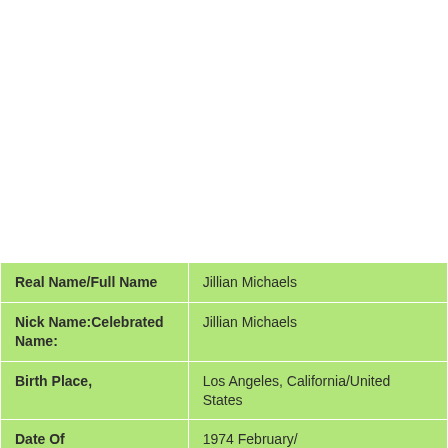| Field | Value |
| --- | --- |
| Real Name/Full Name | Jillian Michaels |
| Nick Name:Celebrated Name: | Jillian Michaels |
| Birth Place, | Los Angeles, California/United States |
| Date Of Birth:Birthday18 | 1974 February/ |
| Age:How Old48  years old | / |